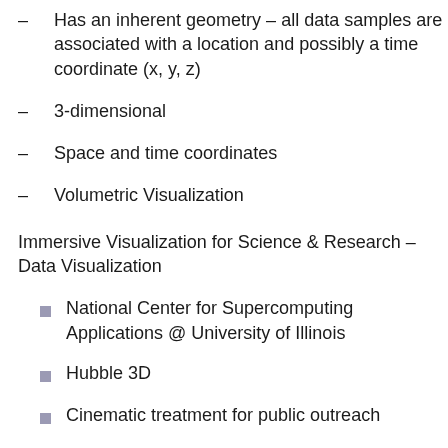– Has an inherent geometry – all data samples are associated with a location and possibly a time coordinate (x, y, z)
– 3-dimensional
– Space and time coordinates
– Volumetric Visualization
Immersive Visualization for Science & Research – Data Visualization
National Center for Supercomputing Applications @ University of Illinois
Hubble 3D
Cinematic treatment for public outreach
Import data à Explore data à Design scene à